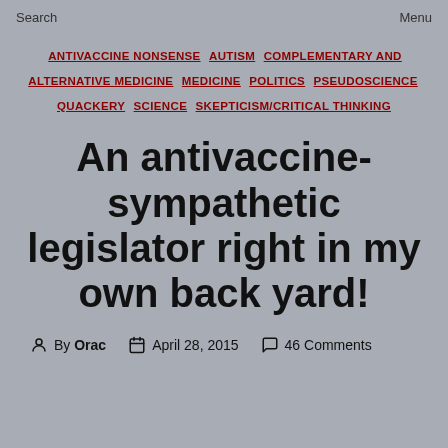Search    Menu
ANTIVACCINE NONSENSE  AUTISM  COMPLEMENTARY AND ALTERNATIVE MEDICINE  MEDICINE  POLITICS  PSEUDOSCIENCE  QUACKERY  SCIENCE  SKEPTICISM/CRITICAL THINKING
An antivaccine-sympathetic legislator right in my own back yard!
By Orac  April 28, 2015  46 Comments